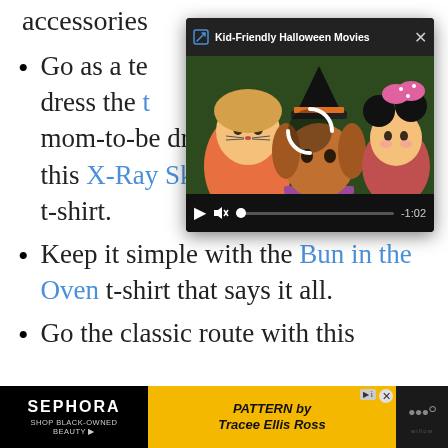accessories
[Figure (screenshot): Video popup overlay titled 'Kid-Friendly Halloween Movies' showing three children in Halloween costumes with video playback controls and timestamp -1:02]
Go as a team! dress the mom-to-be dresses the part with this X-Ray Skeleton mom and baby t-shirt.
Keep it simple with the Bun in the Oven t-shirt that says it all.
Go the classic route with this
[Figure (screenshot): Advertisement bar: Sephora 'Shop Black-Owned Beauty' on left, Pattern by Tracee Ellis Ross in center on yellow background, Willow logo on right]